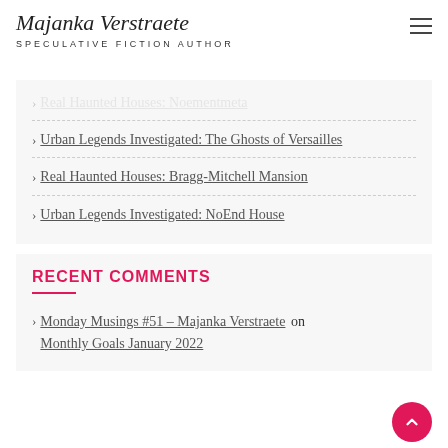Majanka Verstraete — SPECULATIVE FICTION AUTHOR
Real Haunted Houses: Noem... [truncated/faded]
Urban Legends Investigated: The Ghosts of Versailles
Real Haunted Houses: Bragg-Mitchell Mansion
Urban Legends Investigated: NoEnd House
RECENT COMMENTS
Monday Musings #51 – Majanka Verstraete on Monthly Goals January 2022